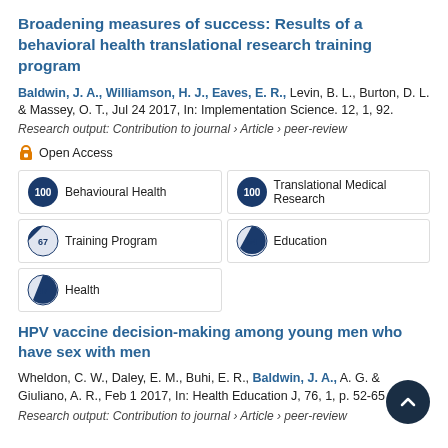Broadening measures of success: Results of a behavioral health translational research training program
Baldwin, J. A., Williamson, H. J., Eaves, E. R., Levin, B. L., Burton, D. L. & Massey, O. T., Jul 24 2017, In: Implementation Science. 12, 1, 92.
Research output: Contribution to journal › Article › peer-review
Open Access
Behavioural Health
Translational Medical Research
Training Program
Education
Health
HPV vaccine decision-making among young men who have sex with men
Wheldon, C. W., Daley, E. M., Buhi, E. R., Baldwin, J. A., A. G. & Giuliano, A. R., Feb 1 2017, In: Health Education J, 76, 1, p. 52-65 14 p.
Research output: Contribution to journal › Article › peer-review